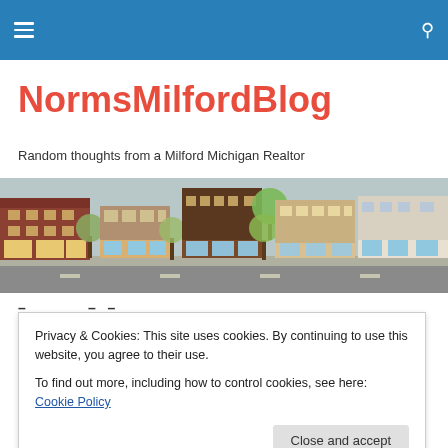NormsMilfordBlog navigation bar
NormsMilfordBlog
Random thoughts from a Milford Michigan Realtor
[Figure (photo): Panoramic street view of downtown Milford, Michigan showing storefronts, trees, and a street.]
Privacy & Cookies: This site uses cookies. By continuing to use this website, you agree to their use. To find out more, including how to control cookies, see here: Cookie Policy
incomparable." (Brenda Ueland)